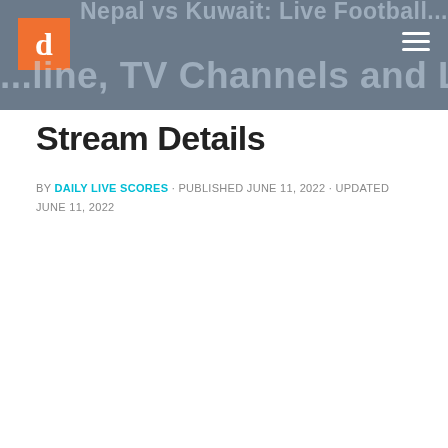Nepal vs Kuwait: Live Football Online, TV Channels and Live Stream Details
Stream Details
BY DAILY LIVE SCORES · PUBLISHED JUNE 11, 2022 · UPDATED JUNE 11, 2022